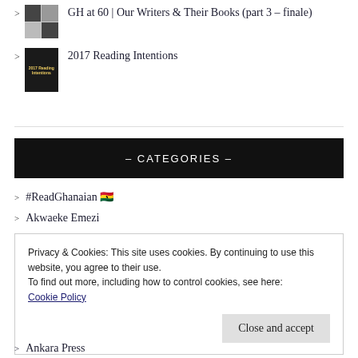[Figure (photo): Small mosaic thumbnail image with multiple photos]
GH at 60 | Our Writers & Their Books (part 3 - finale)
[Figure (photo): 2017 Reading Intentions book cover thumbnail, dark background with decorative text]
2017 Reading Intentions
– CATEGORIES –
#ReadGhanaian 🇬🇭
Akwaeke Emezi
Privacy & Cookies: This site uses cookies. By continuing to use this website, you agree to their use.
To find out more, including how to control cookies, see here:
Cookie Policy
Ankara Press